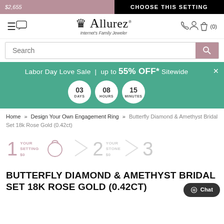$2,655 | CHOOSE THIS SETTING
[Figure (logo): Allurez logo with crown icon and tagline 'Internet's Family Jeweler']
Search
Labor Day Love Sale | up to 55% OFF* Sitewide — 03 DAYS 08 HOURS 15 MINUTES
Home » Design Your Own Engagement Ring » Butterfly Diamond & Amethyst Bridal Set 18k Rose Gold (0.42ct)
[Figure (infographic): 3-step process: 1 YOUR SETTING $0, ring icon, 2 YOUR STONE $0, arrow, 3]
BUTTERFLY DIAMOND & AMETHYST BRIDAL SET 18K ROSE GOLD (0.42CT)